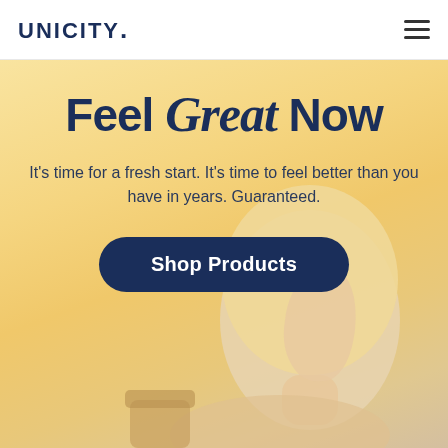[Figure (logo): Unicity logo in dark navy uppercase bold lettering with a period/dot after the Y]
Feel Great Now
It's time for a fresh start. It's time to feel better than you have in years. Guaranteed.
Shop Products
[Figure (photo): Side profile of a blonde woman with pearl earring holding a drink, set against a warm golden-cream gradient background]